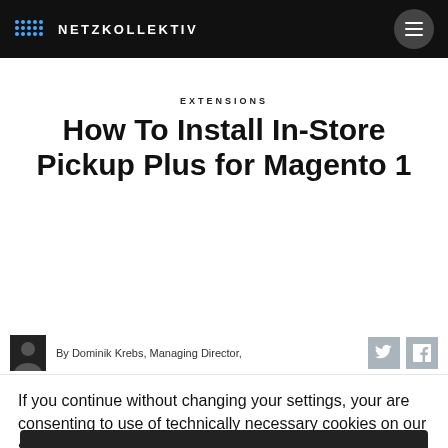NETZKOLLEKTIV
EXTENSIONS
How To Install In-Store Pickup Plus for Magento 1
By Dominik Krebs, Managing Director,
If you continue without changing your settings, your are consenting to use of technically necessary cookies on our site.
Settings